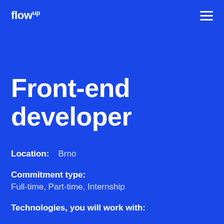flowup
Front-end developer
Location:  Brno
Commitment type: Full-time, Part-time, Internship
Technologies, you will work with: